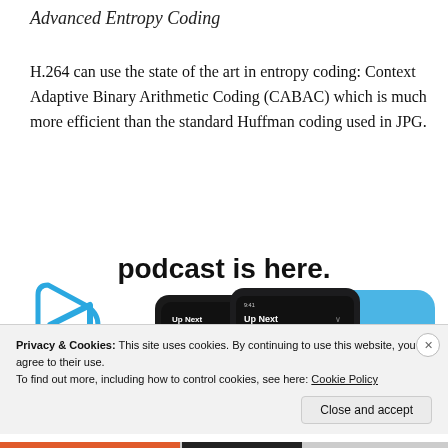Advanced Entropy Coding
H.264 can use the state of the art in entropy coding: Context Adaptive Binary Arithmetic Coding (CABAC) which is much more efficient than the standard Huffman coding used in JPG.
[Figure (screenshot): Podcast app advertisement showing 'podcast is here.' text and two smartphone screens displaying podcast app UI with 'Up Next' queue, including 'The Making of Boris Johnson' podcast episode. Blue play button icon visible on left side.]
Privacy & Cookies: This site uses cookies. By continuing to use this website, you agree to their use.
To find out more, including how to control cookies, see here: Cookie Policy
Close and accept